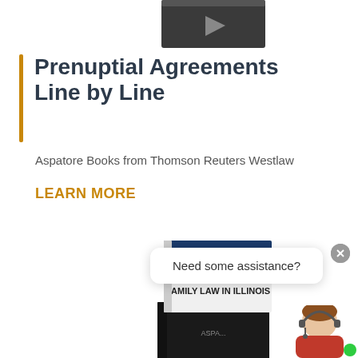[Figure (photo): Partial view of a dark book cover at the top of the page, cropped]
Prenuptial Agreements Line by Line
Aspatore Books from Thomson Reuters Westlaw
LEARN MORE
[Figure (photo): Book titled 'Strategies for Family Law in Illinois' with blue and white cover, partially showing]
[Figure (photo): Dark black book cover partially visible at bottom]
Need some assistance?
[Figure (photo): Customer service representative avatar with headset]